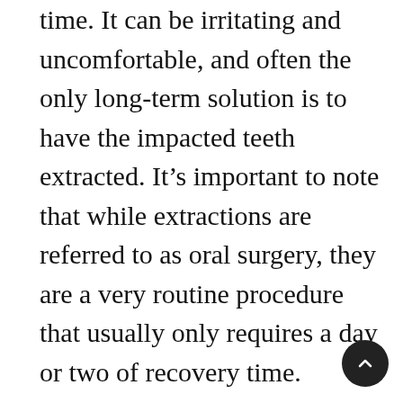time. It can be irritating and uncomfortable, and often the only long-term solution is to have the impacted teeth extracted. It's important to note that while extractions are referred to as oral surgery, they are a very routine procedure that usually only requires a day or two of recovery time.

Another cause of wisdom tooth pain is an abscess. This often happens when debris or bacteria get caught in the pockets or crevices caused by a